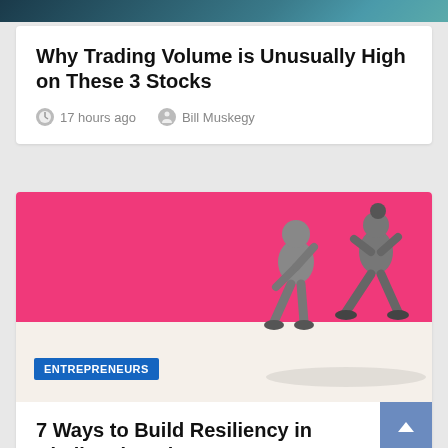[Figure (photo): Dark teal/blue gradient image strip at the top of the page]
Why Trading Volume is Unusually High on These 3 Stocks
17 hours ago   Bill Muskegy
[Figure (illustration): Two people in grayscale pushing against a large pink triangular shape, with an ENTREPRENEURS badge overlay]
7 Ways to Build Resiliency in Challenging Times
1 day ago   Bill Muskegy